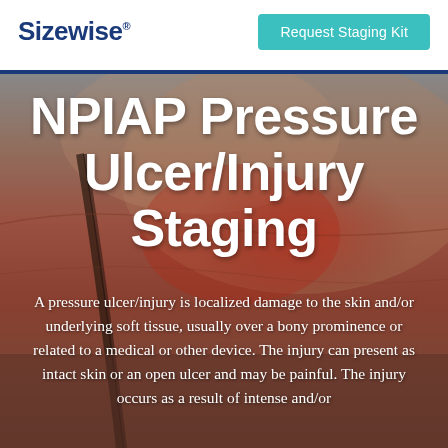Sizewise
Request Staging Kit
NPIAP Pressure Ulcer/Injury Staging
[Figure (photo): Close-up photograph of a person's skin/back area showing redness and pressure injury, serving as background for the NPIAP staging infographic]
A pressure ulcer/injury is localized damage to the skin and/or underlying soft tissue, usually over a bony prominence or related to a medical or other device. The injury can present as intact skin or an open ulcer and may be painful. The injury occurs as a result of intense and/or